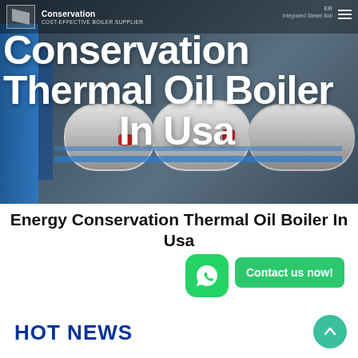[Figure (photo): Hero banner showing industrial thermal oil boilers in a facility, with a dark blue-gray background. Navigation bar overlay at top with logo and site name 'COST-EFFECTIVE BOILER SUPPLIER'. Large white bold text overlay reads 'Conservation Thermal Oil Boiler In Usa'.]
Energy Conservation Thermal Oil Boiler In Usa
[Figure (logo): WhatsApp green rounded square icon with phone/chat symbol]
Contact us now!
HOT NEWS